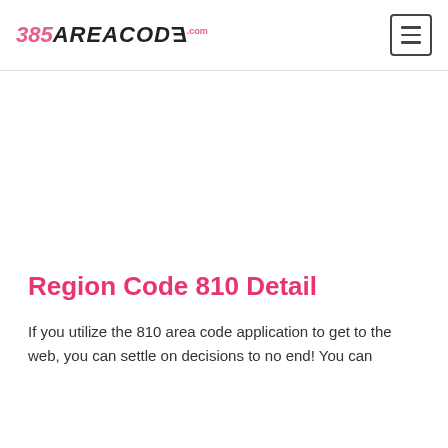385AREACODE.com
Region Code 810 Detail
If you utilize the 810 area code application to get to the web, you can settle on decisions to no end! You can